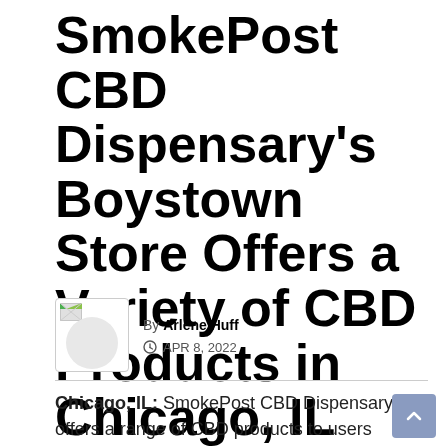SmokePost CBD Dispensary's Boystown Store Offers a Variety of CBD Products in Chicago, IL
By Arlene Huff
APR 8, 2022
Chicago, IL: SmokePost CBD Dispensary offers a range of CBD products to users